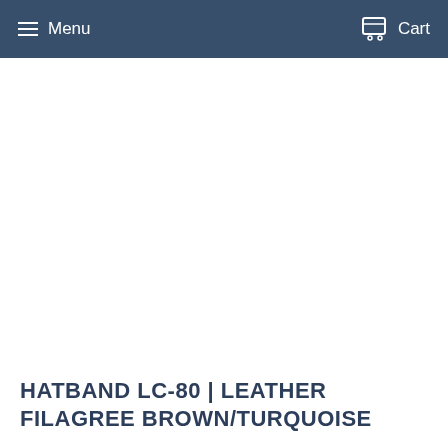Menu   Cart
[Figure (photo): White/blank product image area for hatband product]
HATBAND LC-80 | LEATHER FILAGREE BROWN/TURQUOISE